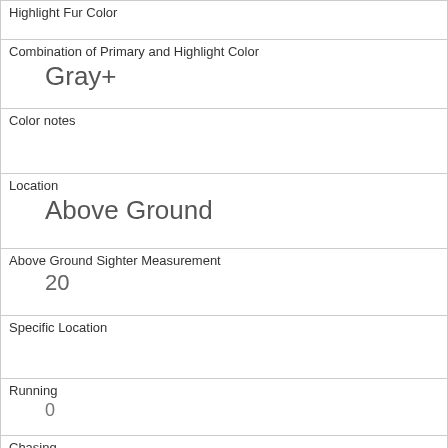| Highlight Fur Color |  |
| Combination of Primary and Highlight Color | Gray+ |
| Color notes |  |
| Location | Above Ground |
| Above Ground Sighter Measurement | 20 |
| Specific Location |  |
| Running | 0 |
| Chasing | 0 |
| Climbing | 1 |
| Eating | 0 |
| Foraging |  |